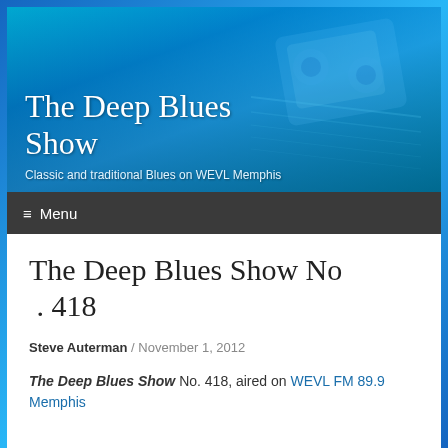[Figure (photo): Banner image with cassette tape / guitar closeup on a blue gradient background, serving as the website header for The Deep Blues Show]
The Deep Blues Show
Classic and traditional Blues on WEVL Memphis
≡ Menu
The Deep Blues Show No . 418
Steve Auterman / November 1, 2012
The Deep Blues Show No. 418, aired on WEVL FM 89.9 Memphis